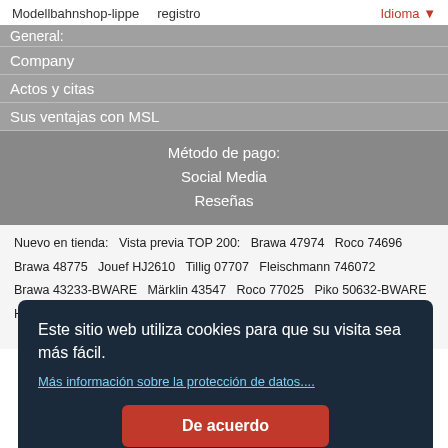Modellbahnshop-lippe   registro   Idioma
Company
Actos y citas
Sus ventajas con MSL
Método de pago:
Social Media
Reseñas
Nuevo en tienda:   Vista previa TOP 200:   Brawa 47974   Roco 74696
Brawa 48775   Jouef HJ2610   Tillig 07707   Fleischmann 746072
Brawa 43233-BWARE   Märklin 43547   Roco 77025   Piko 50632-BWARE
Herpa 315074   Brekina PCX870283   Fleischmann 826701-BWARE
1343-
Este sitio web utiliza cookies para que su visita sea más fácil.
Más información sobre la protección de datos....
De acuerdo